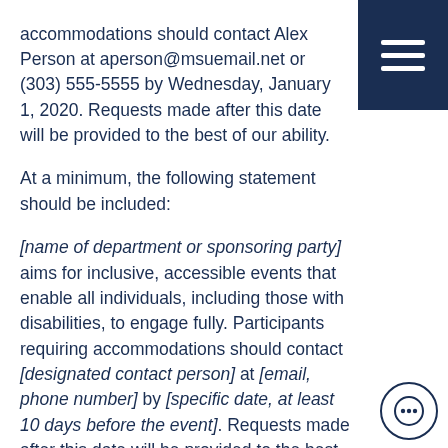accommodations should contact Alex Person at aperson@msuemail.net or (303) 555-5555 by Wednesday, January 1, 2020. Requests made after this date will be provided to the best of our ability.
At a minimum, the following statement should be included:
[name of department or sponsoring party] aims for inclusive, accessible events that enable all individuals, including those with disabilities, to engage fully. Participants requiring accommodations should contact [designated contact person] at [email, phone number] by [specific date, at least 10 days before the event]. Requests made after this date will be provided to the best of our ability.